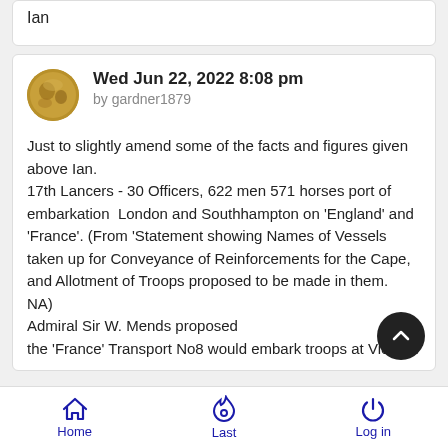Ian
Wed Jun 22, 2022 8:08 pm
by gardner1879
Just to slightly amend some of the facts and figures given above Ian.
17th Lancers - 30 Officers, 622 men 571 horses port of embarkation  London and Southhampton on 'England' and 'France'. (From 'Statement showing Names of Vessels taken up for Conveyance of Reinforcements for the Cape, and Allotment of Troops proposed to be made in them.  NA)
Admiral Sir W. Mends proposed
the 'France' Transport No8 would embark troops at Victoria
Home    Last    Log in